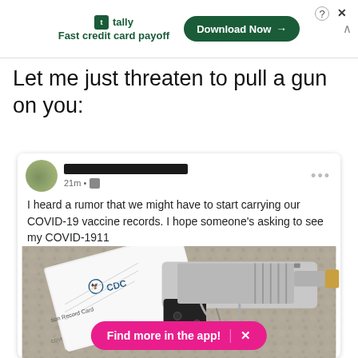[Figure (screenshot): Tally app advertisement banner with 'Fast credit card payoff' text and 'Download Now' button]
Let me just threaten to pull a gun on you:
[Figure (screenshot): Facebook post screenshot showing text 'I heard a rumor that we might have to start carrying our COVID-19 vaccine records. I hope someone’s asking to see my COVID-1911' with a photo of a CDC vaccination record card next to a handgun, and a 'Find more in the app!' pink banner at the bottom]